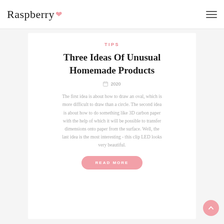Raspberry
TIPS
Three Ideas Of Unusual Homemade Products
2020
The first idea is about how to draw an oval, which is more difficult to draw than a circle. The second idea is about how to do something like 3D carbon paper with the help of which it will be possible to transfer dimensions onto paper from the surface. Well, the last idea is the most interesting - this clip LED looks very beautiful.
READ MORE